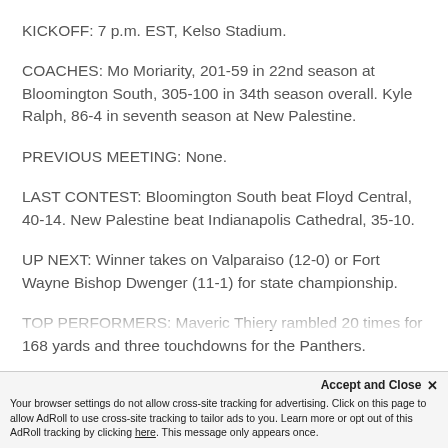KICKOFF: 7 p.m. EST, Kelso Stadium.
COACHES: Mo Moriarity, 201-59 in 22nd season at Bloomington South, 305-100 in 34th season overall. Kyle Ralph, 86-4 in seventh season at New Palestine.
PREVIOUS MEETING: None.
LAST CONTEST: Bloomington South beat Floyd Central, 40-14. New Palestine beat Indianapolis Cathedral, 35-10.
UP NEXT: Winner takes on Valparaiso (12-0) or Fort Wayne Bishop Dwenger (11-1) for state championship.
TOP PERFORMERS: Maveric Thiery rambled 20 times for 168 yards and three touchdowns for the Panthers.
Accept and Close ✕
Your browser settings do not allow cross-site tracking for advertising. Click on this page to allow AdRoll to use cross-site tracking to tailor ads to you. Learn more or opt out of this AdRoll tracking by clicking here. This message only appears once.